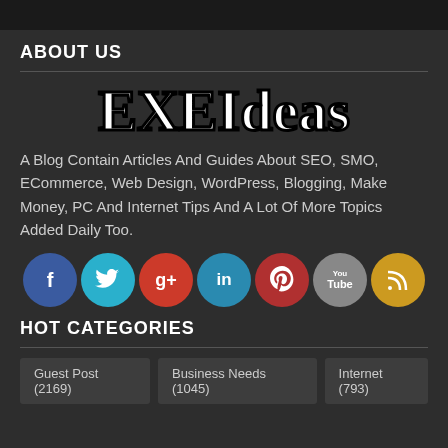ABOUT US
[Figure (logo): EXEIdeas blog logo in large white graffiti-style text with black outline]
A Blog Contain Articles And Guides About SEO, SMO, ECommerce, Web Design, WordPress, Blogging, Make Money, PC And Internet Tips And A Lot Of More Topics Added Daily Too.
[Figure (infographic): Social media icons row: Facebook (blue), Twitter (teal), Google+ (red), LinkedIn (blue), Pinterest (red), YouTube (grey), RSS feed (gold)]
HOT CATEGORIES
Guest Post (2169)
Business Needs (1045)
Internet (793)